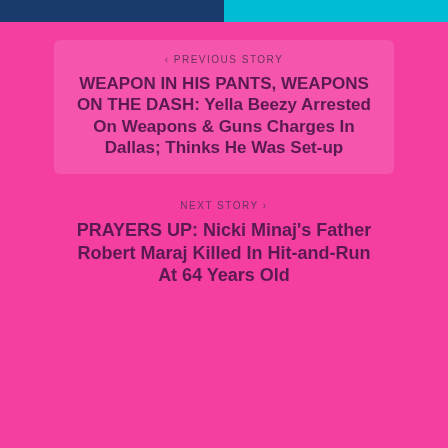[Figure (screenshot): Top navigation bar split into two colored sections: left half dark blue, right half cyan/light blue]
‹ PREVIOUS STORY
WEAPON IN HIS PANTS, WEAPONS ON THE DASH: Yella Beezy Arrested On Weapons & Guns Charges In Dallas; Thinks He Was Set-up
NEXT STORY ›
PRAYERS UP: Nicki Minaj's Father Robert Maraj Killed In Hit-and-Run At 64 Years Old